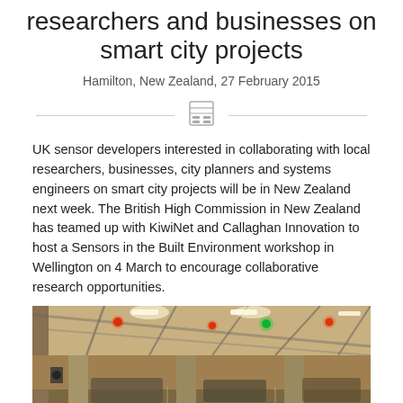researchers and businesses on smart city projects
Hamilton, New Zealand, 27 February 2015
UK sensor developers interested in collaborating with local researchers, businesses, city planners and systems engineers on smart city projects will be in New Zealand next week.  The British High Commission in New Zealand has teamed up with KiwiNet and Callaghan Innovation to host a Sensors in the Built Environment workshop in Wellington on 4 March to encourage collaborative research opportunities.
[Figure (photo): Interior of a parking garage showing ceiling beams, red and green sensor/traffic lights, fluorescent lights, concrete pillars, and parked vehicles in the background]